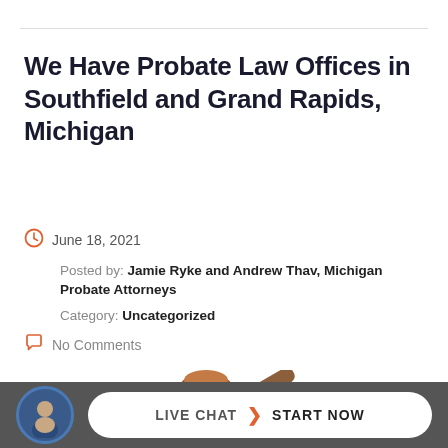We Have Probate Law Offices in Southfield and Grand Rapids, Michigan
June 18, 2021
Posted by: Jamie Ryke and Andrew Thav, Michigan Probate Attorneys
Category: Uncategorized
No Comments
[Figure (photo): A judge's gavel (brown wooden mallet) photographed from above on a white background]
LIVE CHAT  START NOW